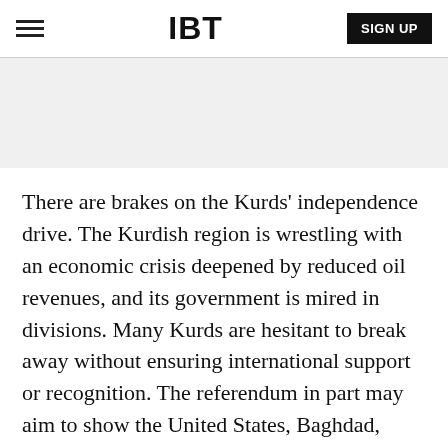IBT | SIGN UP
[Figure (other): Advertisement or banner placeholder area (gray background)]
There are brakes on the Kurds' independence drive. The Kurdish region is wrestling with an economic crisis deepened by reduced oil revenues, and its government is mired in divisions. Many Kurds are hesitant to break away without ensuring international support or recognition. The referendum in part may aim to show the United States, Baghdad, Turkey and Iran that they have to